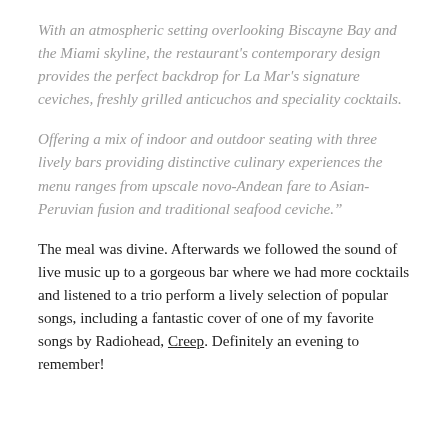With an atmospheric setting overlooking Biscayne Bay and the Miami skyline, the restaurant's contemporary design provides the perfect backdrop for La Mar's signature ceviches, freshly grilled anticuchos and speciality cocktails.
Offering a mix of indoor and outdoor seating with three lively bars providing distinctive culinary experiences the menu ranges from upscale novo-Andean fare to Asian-Peruvian fusion and traditional seafood ceviche."
The meal was divine. Afterwards we followed the sound of live music up to a gorgeous bar where we had more cocktails and listened to a trio perform a lively selection of popular songs, including a fantastic cover of one of my favorite songs by Radiohead, Creep. Definitely an evening to remember!